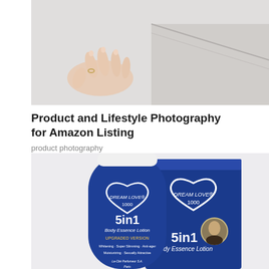[Figure (photo): Lifestyle photo of a person's hand on white bedding/sheets, soft light, product photography context]
Product and Lifestyle Photography for Amazon Listing
product photography
[Figure (photo): Product photo of Dream Love 1000 5in1 Body Essence Lotion tube and box packaging in blue, with heart logo and celebrity image on box]